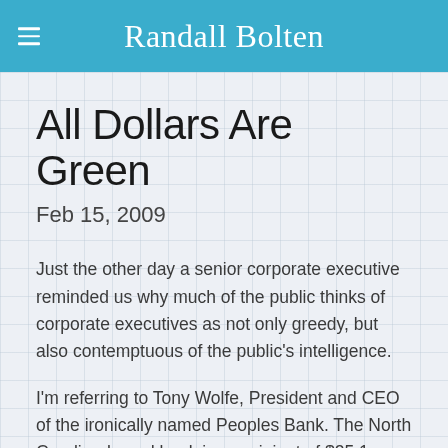Randall Bolten
All Dollars Are Green
Feb 15, 2009
Just the other day a senior corporate executive reminded us why much of the public thinks of corporate executives as not only greedy, but also contemptuous of the public's intelligence.
I'm referring to Tony Wolfe, President and CEO of the ironically named Peoples Bank. The North Carolina-based bank is a recipient of $25.1 million in funds from the Troubled Asset Relief Program (TARP), and like many